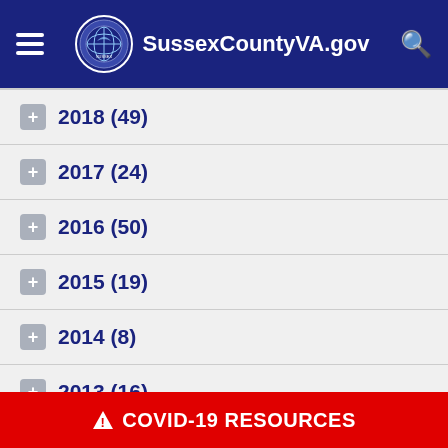SussexCountyVA.gov
2018 (49)
2017 (24)
2016 (50)
2015 (19)
2014 (8)
2013 (16)
2012 (10)
⚠ COVID-19 RESOURCES